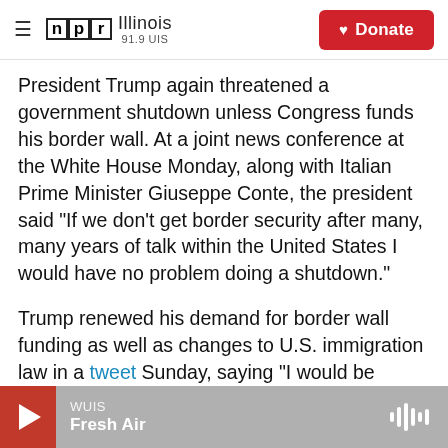NPR Illinois 91.9 UIS | Donate
President Trump again threatened a government shutdown unless Congress funds his border wall. At a joint news conference at the White House Monday, along with Italian Prime Minister Giuseppe Conte, the president said "If we don't get border security after many, many years of talk within the United States I would have no problem doing a shutdown."
Trump renewed his demand for border wall funding as well as changes to U.S. immigration law in a tweet Sunday, saying "I would be willing to 'shut down' government if the Democrats do not give us
WUIS | Fresh Air